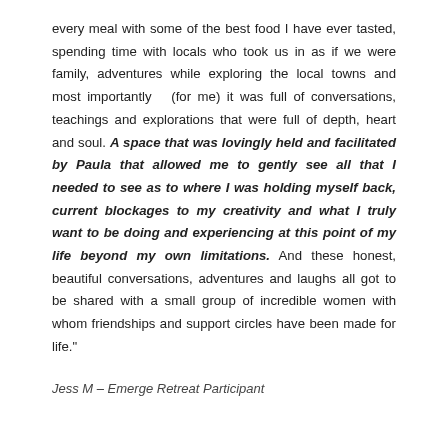every meal with some of the best food I have ever tasted, spending time with locals who took us in as if we were family, adventures while exploring the local towns and most importantly  (for me) it was full of conversations, teachings and explorations that were full of depth, heart and soul. A space that was lovingly held and facilitated by Paula that allowed me to gently see all that I needed to see as to where I was holding myself back, current blockages to my creativity and what I truly want to be doing and experiencing at this point of my life beyond my own limitations. And these honest, beautiful conversations, adventures and laughs all got to be shared with a small group of incredible women with whom friendships and support circles have been made for life."
Jess M – Emerge Retreat Participant